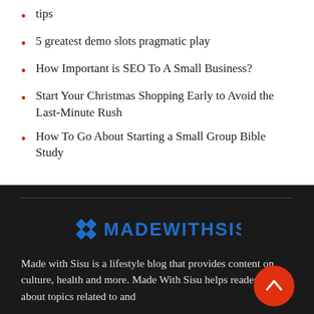tips
5 greatest demo slots pragmatic play
How Important is SEO To A Small Business?
Start Your Christmas Shopping Early to Avoid the Last-Minute Rush
How To Go About Starting a Small Group Bible Study
[Figure (logo): Made With Sisu logo in blue with diamond icons]
Made with Sisu is a lifestyle blog that provides content on culture, health and more. Made With Sisu helps readers learn about topics related to and